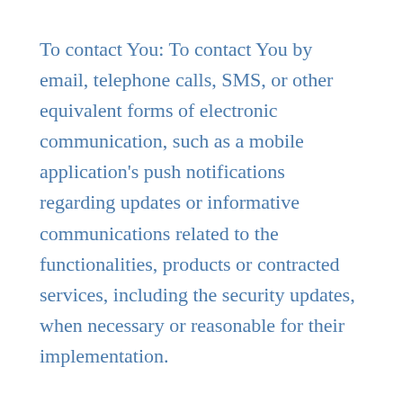To contact You: To contact You by email, telephone calls, SMS, or other equivalent forms of electronic communication, such as a mobile application's push notifications regarding updates or informative communications related to the functionalities, products or contracted services, including the security updates, when necessary or reasonable for their implementation.
To provide You with news, special offers and general information about other goods, services and events which we offer that are